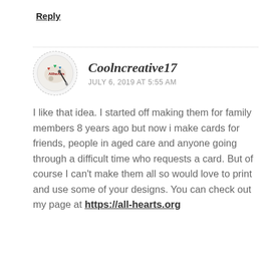Reply
[Figure (illustration): Circular avatar with dashed border showing an art palette logo with colorful hearts and the text AllHeArts]
Coolncreative17
JULY 6, 2019 AT 5:55 AM
I like that idea. I started off making them for family members 8 years ago but now i make cards for friends, people in aged care and anyone going through a difficult time who requests a card. But of course I can't make them all so would love to print and use some of your designs. You can check out my page at https://all-hearts.org